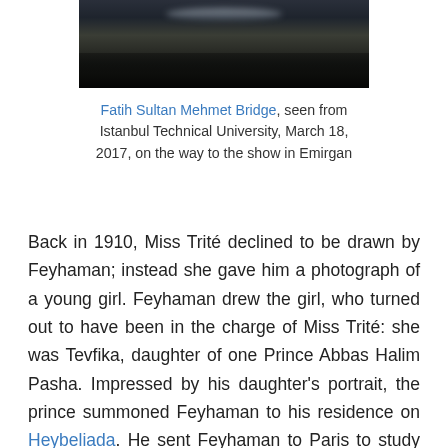[Figure (photo): Dark landscape photograph of Fatih Sultan Mehmet Bridge seen from Istanbul Technical University at dusk/night, with silhouettes of trees in the foreground and faint light in the background.]
Fatih Sultan Mehmet Bridge, seen from Istanbul Technical University, March 18, 2017, on the way to the show in Emirgan
Back in 1910, Miss Trité declined to be drawn by Feyhaman; instead she gave him a photograph of a young girl. Feyhaman drew the girl, who turned out to have been in the charge of Miss Trité: she was Tevfika, daughter of one Prince Abbas Halim Pasha. Impressed by his daughter's portrait, the prince summoned Feyhaman to his residence on Heybeliada. He sent Feyhaman to Paris to study painting on a monthly allowance of 15